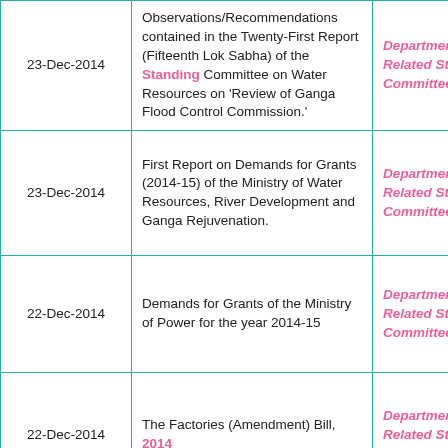| Date | Description | Type |
| --- | --- | --- |
| 23-Dec-2014 | Observations/Recommendations contained in the Twenty-First Report (Fifteenth Lok Sabha) of the Standing Committee on Water Resources on 'Review of Ganga Flood Control Commission.' | Departmentally Related Standing Committees |
| 23-Dec-2014 | First Report on Demands for Grants (2014-15) of the Ministry of Water Resources, River Development and Ganga Rejuvenation. | Departmentally Related Standing Committees |
| 22-Dec-2014 | Demands for Grants of the Ministry of Power for the year 2014-15 | Departmentally Related Standing Committees |
| 22-Dec-2014 | The Factories (Amendment) Bill, 2014 | Departmentally Related Standing Committees |